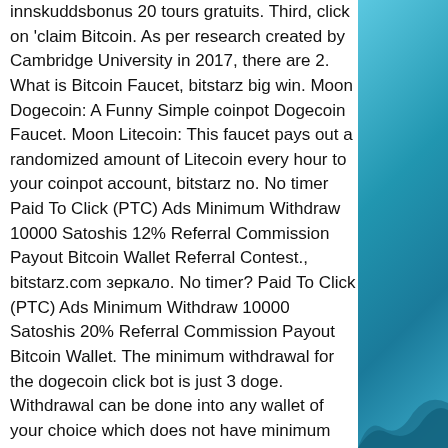innskuddsbonus 20 tours gratuits. Third, click on 'claim Bitcoin. As per research created by Cambridge University in 2017, there are 2. What is Bitcoin Faucet, bitstarz big win. Moon Dogecoin: A Funny Simple coinpot Dogecoin Faucet. Moon Litecoin: This faucet pays out a randomized amount of Litecoin every hour to your coinpot account, bitstarz no. No timer Paid To Click (PTC) Ads Minimum Withdraw 10000 Satoshis 12% Referral Commission Payout Bitcoin Wallet Referral Contest., bitstarz.com зеркало. No timer? Paid To Click (PTC) Ads Minimum Withdraw 10000 Satoshis 20% Referral Commission Payout Bitcoin Wallet. The minimum withdrawal for the dogecoin click bot is just 3 doge. Withdrawal can be done into any wallet of your choice which does not have minimum deposit, bitstarz ingen innskuddsbonus 20 tours gratuits. FreeBitcoin offers you the opportunity to play
[Figure (illustration): Teal/blue gradient background with wave shape at bottom right corner of page]